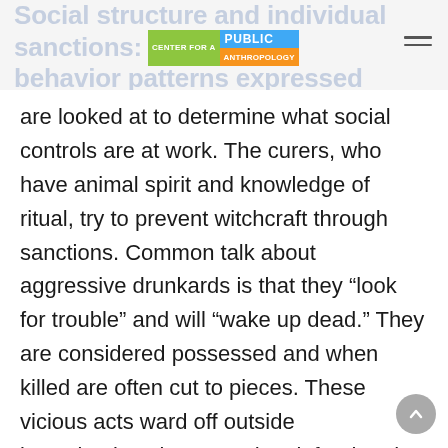Social structure and individual sanctions: behavior patterns expressed through killing
[Figure (logo): Center for a Public Anthropology logo with green, blue, and orange colored blocks]
are looked at to determine what social controls are at work. The curers, who have animal spirit and knowledge of ritual, try to prevent witchcraft through sanctions. Common talk about aggressive drunkards is that they “look for trouble” and will “wake up dead.” They are considered possessed and when killed are often cut to pieces. These vicious acts ward off outside investigations because they infer that the killing involved witchery.
Men are the killers but women and neighbors